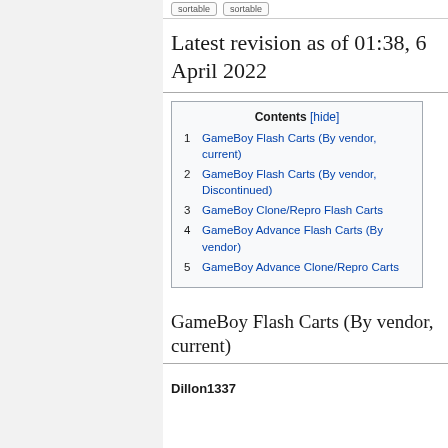Latest revision as of 01:38, 6 April 2022
| Contents | [hide] |
| --- | --- |
| 1 | GameBoy Flash Carts (By vendor, current) |
| 2 | GameBoy Flash Carts (By vendor, Discontinued) |
| 3 | GameBoy Clone/Repro Flash Carts |
| 4 | GameBoy Advance Flash Carts (By vendor) |
| 5 | GameBoy Advance Clone/Repro Carts |
GameBoy Flash Carts (By vendor, current)
Dillon1337